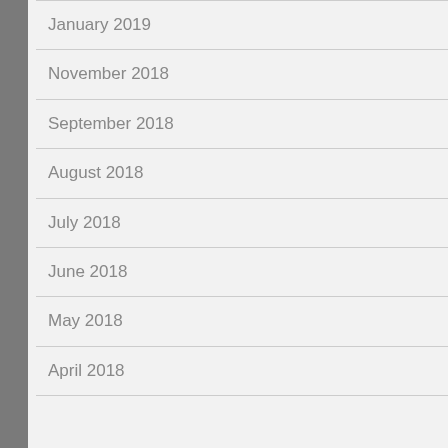January 2019
November 2018
September 2018
August 2018
July 2018
June 2018
May 2018
April 2018